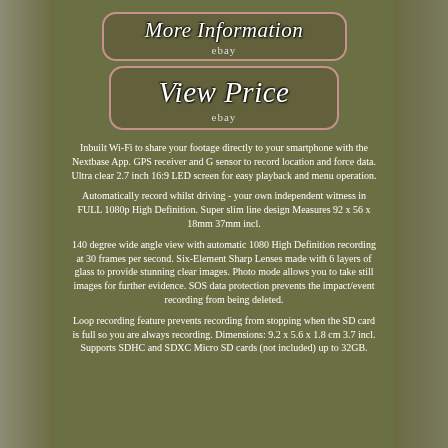[Figure (other): Button/banner styled box with italic white text 'More Information' and subtext 'ebay', pink rounded border on dark olive background]
[Figure (other): Button/banner styled box with italic white text 'View Price' and subtext 'ebay', pink rounded border on dark olive background]
Inbuilt Wi-Fi to share your footage directly to your smartphone with the Nextbase App. GPS receiver and G sensor to record location and force data. Ultra clear 2.7 inch 16:9 LED screen for easy playback and menu operation.
Automatically record whilst driving - your own independent witness in FULL 1080p High Definition. Super slim line design Measures 92 x 56 x 18mm 37mm incl.
140 degree wide angle view with automatic 1080 High Definition recording at 30 frames per second. Six-Element Sharp Lenses made with 6 layers of glass to provide stunning clear images. Photo mode allows you to take still images for further evidence. SOS data protection prevents the impact/event recording from being deleted.
Loop recording feature prevents recording from stopping when the SD card is full so you are always recording. Dimensions: 9.2 x 5.6 x 1.8 cm 3.7 incl. Supports SDHC and SDXC Micro SD cards (not included) up to 32GB.